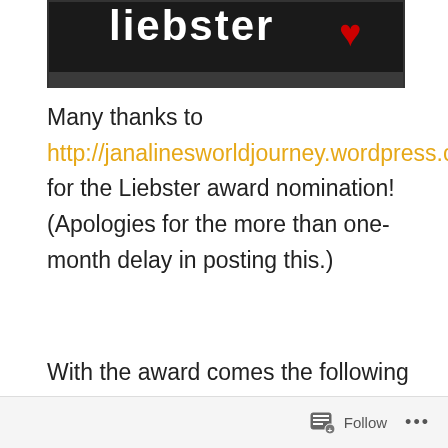[Figure (photo): Partial view of a Liebster award blog image with dark background and heart graphic, cropped at top]
Many thanks to http://janalinesworldjourney.wordpress.com/ for the Liebster award nomination! (Apologies for the more than one-month delay in posting this.)
With the award comes the following responsibilities.
A. Post the award image in the blog. Check!
B. Must post 11 random facts about one's self (Check!):
Follow ...